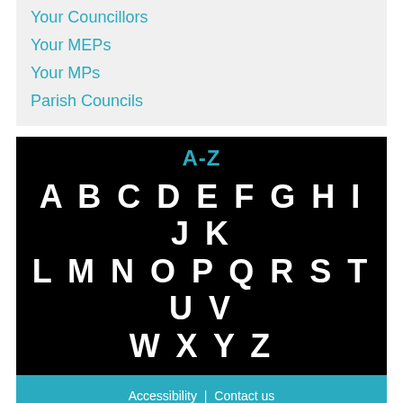Your Councillors
Your MEPs
Your MPs
Parish Councils
[Figure (infographic): A-Z navigation panel on black background with letters A through Z displayed in white bold text across three rows]
Accessibility | Contact us | Emergency numbers | Translate | Our Customer Pledge | Privacy policy | Sitemap